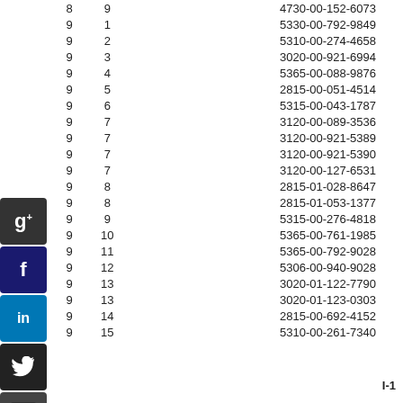| Col1 | Col2 | NSN |
| --- | --- | --- |
| 8 | 9 | 4730-00-152-6073 |
| 9 | 1 | 5330-00-792-9849 |
| 9 | 2 | 5310-00-274-4658 |
| 9 | 3 | 3020-00-921-6994 |
| 9 | 4 | 5365-00-088-9876 |
| 9 | 5 | 2815-00-051-4514 |
| 9 | 6 | 5315-00-043-1787 |
| 9 | 7 | 3120-00-089-3536 |
| 9 | 7 | 3120-00-921-5389 |
| 9 | 7 | 3120-00-921-5390 |
| 9 | 7 | 3120-00-127-6531 |
| 9 | 8 | 2815-01-028-8647 |
| 9 | 8 | 2815-01-053-1377 |
| 9 | 9 | 5315-00-276-4818 |
| 9 | 10 | 5365-00-761-1985 |
| 9 | 11 | 5365-00-792-9028 |
| 9 | 12 | 5306-00-940-9028 |
| 9 | 13 | 3020-01-122-7790 |
| 9 | 13 | 3020-01-123-0303 |
| 9 | 14 | 2815-00-692-4152 |
| 9 | 15 | 5310-00-261-7340 |
I-1